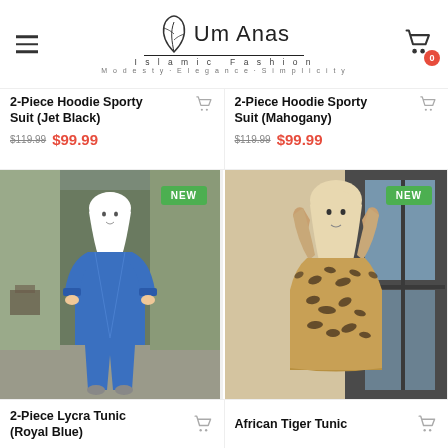Um Anas Islamic Fashion - Modesty·Elegance·Simplicity
2-Piece Hoodie Sporty Suit (Jet Black) $119.99 $99.99
2-Piece Hoodie Sporty Suit (Mahogany) $119.99 $99.99
[Figure (photo): Woman in royal blue 2-piece hoodie sporty suit - tunic and pants, with NEW badge]
[Figure (photo): Woman in African tiger print tunic with hijab, with NEW badge]
2-Piece Lycra Tunic (Royal Blue)
African Tiger Tunic